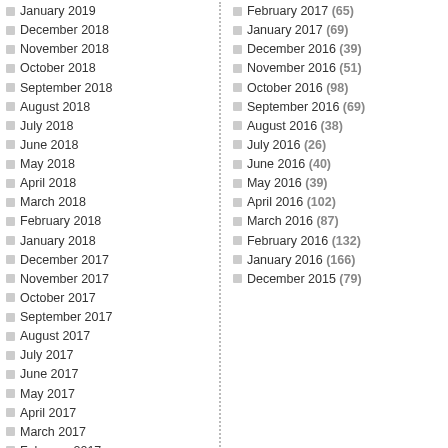January 2019
December 2018
November 2018
October 2018
September 2018
August 2018
July 2018
June 2018
May 2018
April 2018
March 2018
February 2018
January 2018
December 2017
November 2017
October 2017
September 2017
August 2017
July 2017
June 2017
May 2017
April 2017
March 2017
February 2017
January 2017
December 2016
November 2016
February 2017 (65)
January 2017 (69)
December 2016 (39)
November 2016 (51)
October 2016 (98)
September 2016 (69)
August 2016 (38)
July 2016 (26)
June 2016 (40)
May 2016 (39)
April 2016 (102)
March 2016 (87)
February 2016 (132)
January 2016 (166)
December 2015 (79)